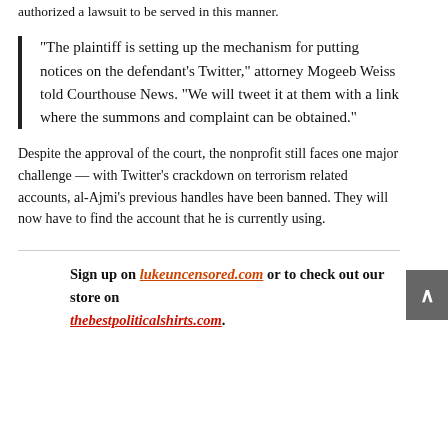authorized a lawsuit to be served in this manner.
“The plaintiff is setting up the mechanism for putting notices on the defendant’s Twitter,” attorney Mogeeb Weiss told Courthouse News. “We will tweet it at them with a link where the summons and complaint can be obtained.”
Despite the approval of the court, the nonprofit still faces one major challenge — with Twitter’s crackdown on terrorism related accounts, al-Ajmi’s previous handles have been banned. They will now have to find the account that he is currently using.
Sign up on lukeuncensored.com or to check out our store on thebestpoliticalshirts.com.